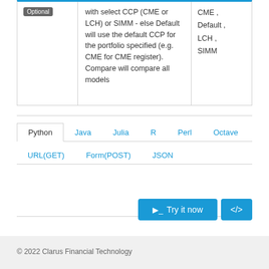|  | Description | Values |
| --- | --- | --- |
| Optional | with select CCP (CME or LCH) or SIMM - else Default will use the default CCP for the portfolio specified (e.g. CME for CME register). Compare will compare all models | CME , Default , LCH , SIMM |
Python  Java  Julia  R  Perl  Octave  URL(GET)  Form(POST)  JSON
Try it now  </>
© 2022 Clarus Financial Technology